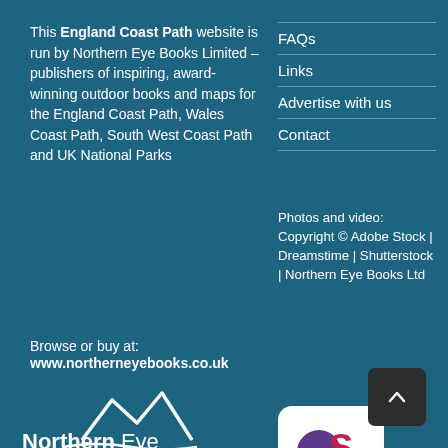This England Coast Path website is run by Northern Eye Books Limited – publishers of inspiring, award-winning outdoor books and maps for the England Coast Path, Wales Coast Path, South West Coast Path and UK National Parks
FAQs
Links
Advertise with us
Contact
Photos and video: Copyright © Adobe Stock | Dreamstime | Shutterstock | Northern Eye Books Ltd
Browse or buy at:
www.northerneyebooks.co.uk
[Figure (logo): OS Partner logo - white rounded square badge with purple OS circle logo and red/magenta S mark, text 'Partner' below]
[Figure (logo): Northern Eye Books logo - white mountain peaks with flowing water lines below, text 'Northern Eye' in white bold/regular]
[Figure (other): Scroll to top button - dark grey rounded square with upward caret arrow]